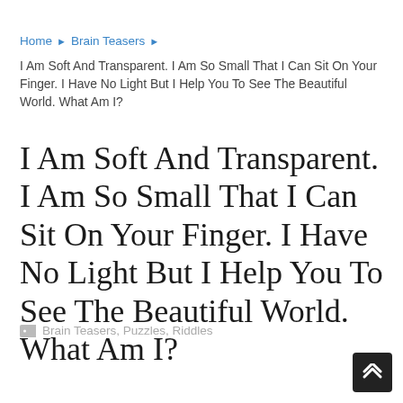Home ▶ Brain Teasers ▶
I Am Soft And Transparent. I Am So Small That I Can Sit On Your Finger. I Have No Light But I Help You To See The Beautiful World. What Am I?
I Am Soft And Transparent. I Am So Small That I Can Sit On Your Finger. I Have No Light But I Help You To See The Beautiful World. What Am I?
Brain Teasers, Puzzles, Riddles